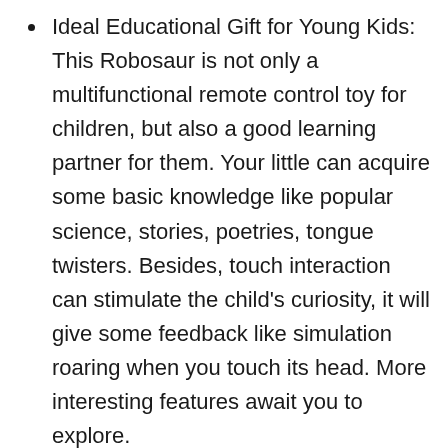Ideal Educational Gift for Young Kids: This Robosaur is not only a multifunctional remote control toy for children, but also a good learning partner for them. Your little can acquire some basic knowledge like popular science, stories, poetries, tongue twisters. Besides, touch interaction can stimulate the child's curiosity, it will give some feedback like simulation roaring when you touch its head. More interesting features await you to explore.
Super Large Size with Endless Fun: Unlike other small robotic dinosaur, this one is extra large size (27.5*17*12.6") after assembled. Ejector, wings and tail are dismountable, which can save the space if you finish playing. And, it comes with 2 sets of